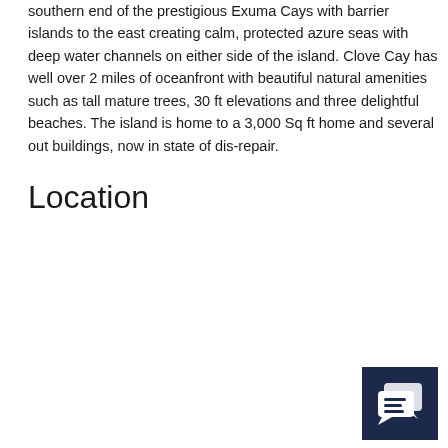southern end of the prestigious Exuma Cays with barrier islands to the east creating calm, protected azure seas with deep water channels on either side of the island. Clove Cay has well over 2 miles of oceanfront with beautiful natural amenities such as tall mature trees, 30 ft elevations and three delightful beaches. The island is home to a 3,000 Sq ft home and several out buildings, now in state of dis-repair.
Location
[Figure (other): Chat/messaging icon — white speech bubble with text lines on a dark navy blue square background]